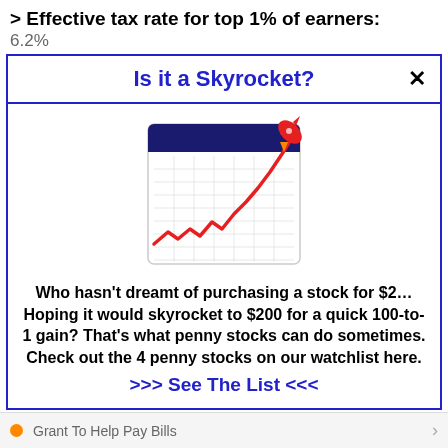> Effective tax rate for top 1% of earners:
6.2%
Is it a Skyrocket?
[Figure (illustration): Illustration of a stock chart on a calendar-like grid showing a rising red line chart with a rocket launching upward from the top right]
Who hasn't dreamt of purchasing a stock for $2… Hoping it would skyrocket to $200 for a quick 100-to-1 gain? That's what penny stocks can do sometimes. Check out the 4 penny stocks on our watchlist here.
>>> See The List <<<
Grant To Help Pay Bills